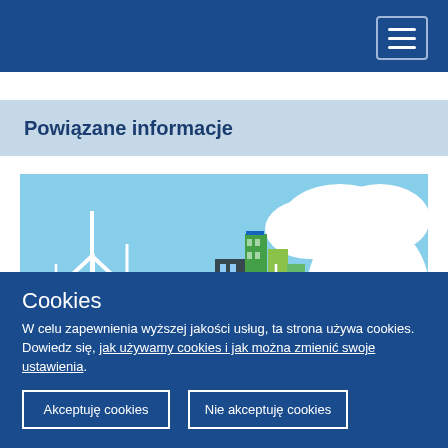Navigation bar with hamburger menu icon
Powiązane informacje
[Figure (illustration): Green city illustration with wind turbines, solar panels, green buildings and trees against a blue sky background, representing sustainable/renewable energy]
Cookies
W celu zapewnienia wyższej jakości usług, ta strona używa cookies. Dowiedz się, jak używamy cookies i jak można zmienić swoje ustawienia.
Akceptuję cookies
Nie akceptuję cookies